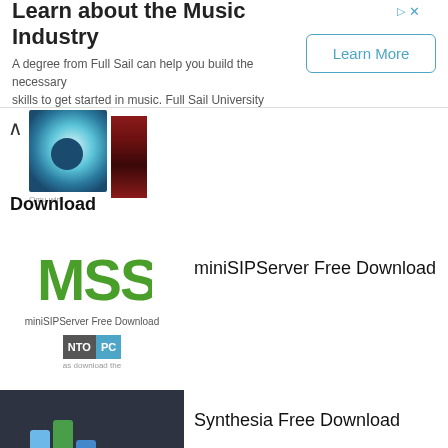[Figure (infographic): Advertisement banner for Full Sail University with 'Learn More' button]
Learn about the Music Industry
A degree from Full Sail can help you build the necessary skills to get started in music. Full Sail University
[Figure (illustration): Partial album cover images showing blue circular design and red striped image]
Download
[Figure (logo): MSS logo in green block letters for miniSIPServer]
miniSIPServer Free Download
miniSIPServer Free Download
[Figure (logo): INTO PC badge/logo]
[Figure (screenshot): Synthesia software screenshot showing colorful bar chart and piano keys on dark background]
Synthesia Free Download